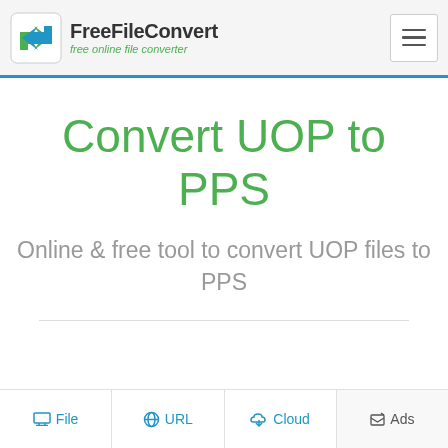FreeFileConvert — free online file converter
Convert UOP to PPS
Online & free tool to convert UOP files to PPS
File  URL  Cloud  Ads